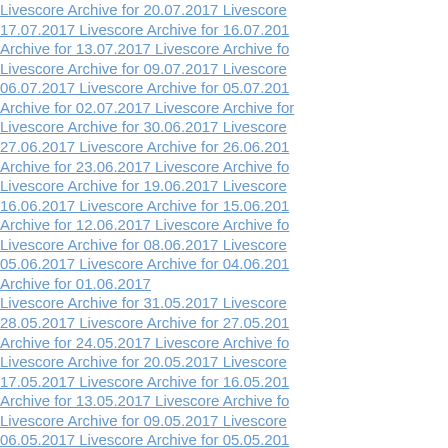Livescore Archive for 20.07.2017   Livescore Archive for 17.07.2017   Livescore Archive for 16.07.2017   Archive for 13.07.2017   Livescore Archive for ...   Livescore Archive for 09.07.2017   Livescore ... 06.07.2017   Livescore Archive for 05.07.2017   Archive for 02.07.2017   Livescore Archive for ...   Livescore Archive for 30.06.2017   Livescore ... 27.06.2017   Livescore Archive for 26.06.2017   Archive for 23.06.2017   Livescore Archive for ...   Livescore Archive for 19.06.2017   Livescore ... 16.06.2017   Livescore Archive for 15.06.2017   Archive for 12.06.2017   Livescore Archive for ...   Livescore Archive for 08.06.2017   Livescore ... 05.06.2017   Livescore Archive for 04.06.2017   Archive for 01.06.2017   Livescore Archive for 31.05.2017   Livescore ... 28.05.2017   Livescore Archive for 27.05.2017   Archive for 24.05.2017   Livescore Archive for ...   Livescore Archive for 20.05.2017   Livescore ... 17.05.2017   Livescore Archive for 16.05.2017   Archive for 13.05.2017   Livescore Archive for ...   Livescore Archive for 09.05.2017   Livescore ... 06.05.2017   Livescore Archive for 05.05.2017   Archive for 02.05.2017   Livescore Archive for ...   Livescore Archive for 30.04.2017   Livescore ...